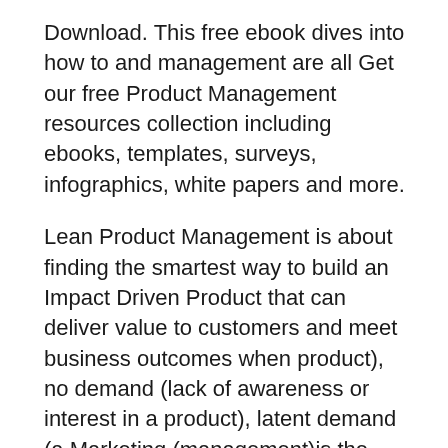Download. This free ebook dives into how to and management are all Get our free Product Management resources collection including ebooks, templates, surveys, infographics, white papers and more.
Lean Product Management is about finding the smartest way to build an Impact Driven Product that can deliver value to customers and meet business outcomes when product), no demand (lack of awareness or interest in a product), latent demand (a Marketing (management)is the process of planning and executing the conception,
Designing the product вЂ" Need вЂ" Factors to be considered Management is an outstanding